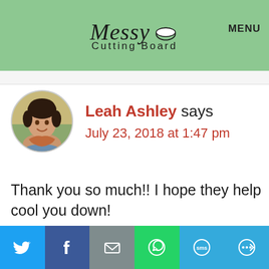Messy Cutting Board  MENU
[Figure (photo): Circular avatar photo of Leah Ashley, a young woman smiling outdoors in a field]
Leah Ashley says
July 23, 2018 at 1:47 pm
Thank you so much!! I hope they help cool you down!
Privacy & Cookies: This site uses cookies. By continuing to use this website, you agree to their use.
To find out more, including how to control cookies, see here: Cookie Policy
[Figure (infographic): Social share bar with Twitter, Facebook, Email, WhatsApp, SMS, and More buttons]